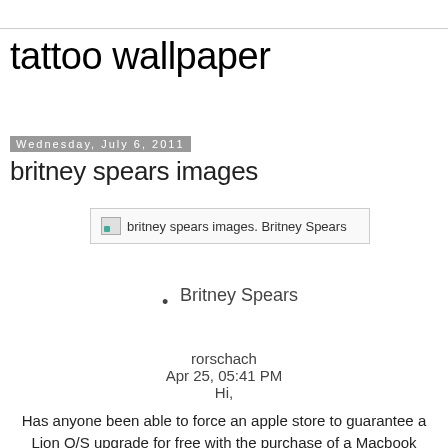tattoo wallpaper
Wednesday, July 6, 2011
britney spears images
[Figure (other): Broken image placeholder with alt text: britney spears images. Britney Spears]
Britney Spears
rorschach
Apr 25, 05:41 PM
Hi,
Has anyone been able to force an apple store to guarantee a Lion O/S upgrade for free with the purchase of a Macbook